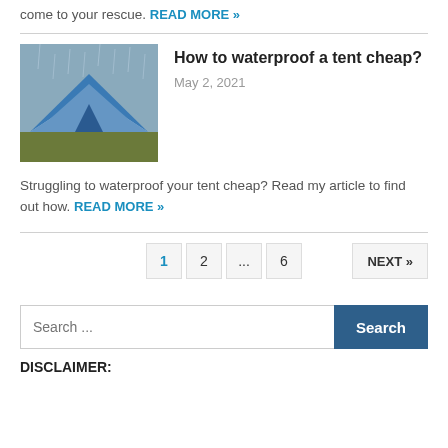come to your rescue. READ MORE »
[Figure (photo): Blue dome tent in rain/outdoor setting]
How to waterproof a tent cheap?
May 2, 2021
Struggling to waterproof your tent cheap? Read my article to find out how. READ MORE »
1  2  ...  6   NEXT »
Search ...
DISCLAIMER: